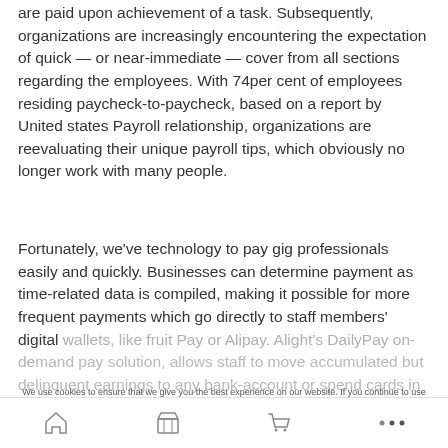are paid upon achievement of a task. Subsequently, organizations are increasingly encountering the expectation of quick — or near-immediate — cover from all sections regarding the employees. With 74per cent of employees residing paycheck-to-paycheck, based on a report by United states Payroll relationship, organizations are reevaluating their unique payroll tips, which obviously no longer work with many people.
Fortunately, we've technology to pay gig professionals easily and quickly. Businesses can determine payment as time-related data is compiled, making it possible for more frequent payments which go directly to staff members' digital wallets, like fruit Pay or Alipay. Alight's DailyPay on-demand pay solution, allows staff to move accumulated but delinquent earnings to any bank-account or spend cards in advance of their own subsequent salary, increasingly more
We use cookies to ensure that we give you the best experience on our website. If you continue to use this site we will assume that you are happy with it.